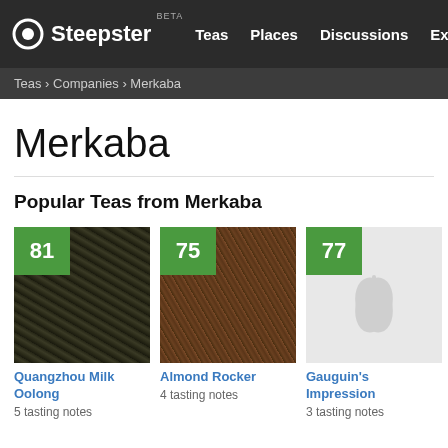Steepster BETA | Teas | Places | Discussions | Explore
Teas › Companies › Merkaba
Merkaba
Popular Teas from Merkaba
[Figure (photo): Score badge 81 over photo of dark twisted oolong tea leaves]
Quangzhou Milk Oolong
5 tasting notes
[Figure (photo): Score badge 75 over photo of brown reddish loose leaf tea]
Almond Rocker
4 tasting notes
[Figure (photo): Score badge 77 over grey placeholder image with leaf icon]
Gauguin's Impression
3 tasting notes